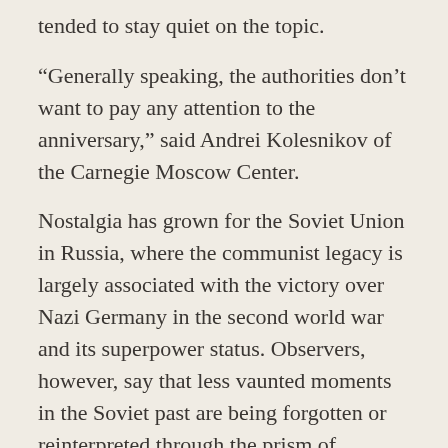tended to stay quiet on the topic.
“Generally speaking, the authorities don’t want to pay any attention to the anniversary,” said Andrei Kolesnikov of the Carnegie Moscow Center.
Nostalgia has grown for the Soviet Union in Russia, where the communist legacy is largely associated with the victory over Nazi Germany in the second world war and its superpower status. Observers, however, say that less vaunted moments in the Soviet past are being forgotten or reinterpreted through the prism of conspiracy theory.
On the night of 20 August 1968, Soviet and other Warsaw Pact troops entered Czechoslovakia in what their leaders...